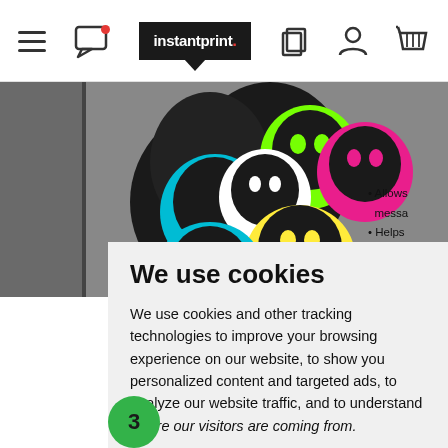instantprint. [navigation bar with menu, chat, logo, pages, account, basket icons]
[Figure (screenshot): Colorful skull designs on a dark background - CMYK colored skull graphics on a dark splattered ink background, partially visible. Bullet points partially visible on right edge: Allows messa..., Helps viewer..., Keep i...]
We use cookies
We use cookies and other tracking technologies to improve your browsing experience on our website, to show you personalized content and targeted ads, to analyze our website traffic, and to understand where our visitors are coming from.